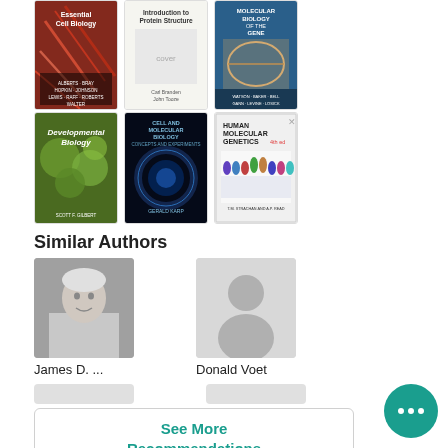[Figure (photo): Row of biology textbook covers: Essential Cell Biology, Introduction to Protein Structure, Molecular Biology of the Gene]
[Figure (photo): Row of biology textbook covers: Developmental Biology, Cell and Molecular Biology, Human Molecular Genetics]
Similar Authors
[Figure (photo): Black and white photo of James D. Watson]
James D. ...
[Figure (photo): Placeholder silhouette avatar for Donald Voet]
Donald Voet
[Figure (photo): Partial author card placeholders (second row)]
See More Recommendations